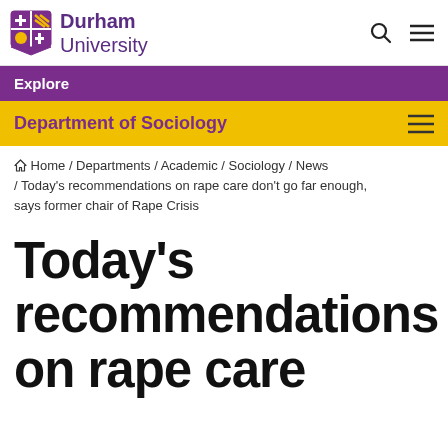Durham University
Explore
Department of Sociology
Home / Departments / Academic / Sociology / News / Today's recommendations on rape care don't go far enough, says former chair of Rape Crisis
Today's recommendations on rape care